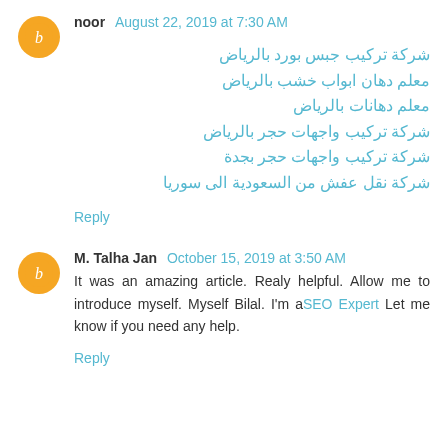noor  August 22, 2019 at 7:30 AM
شركة تركيب جبس بورد بالرياض
معلم دهان ابواب خشب بالرياض
معلم دهانات بالرياض
شركة تركيب واجهات حجر بالرياض
شركة تركيب واجهات حجر بجدة
شركة نقل عفش من السعودية الى سوريا
Reply
M. Talha Jan  October 15, 2019 at 3:50 AM
It was an amazing article. Realy helpful. Allow me to introduce myself. Myself Bilal. I'm aSEO Expert Let me know if you need any help.
Reply